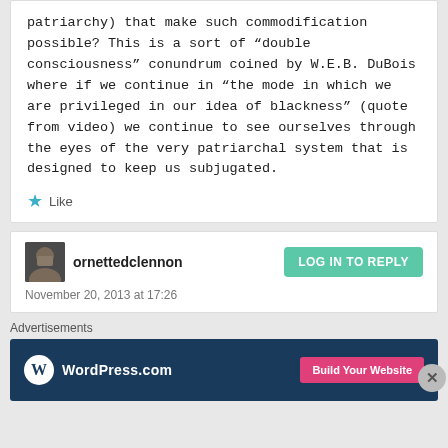patriarchy) that make such commodification possible? This is a sort of “double consciousness” conundrum coined by W.E.B. DuBois where if we continue in “the mode in which we are privileged in our idea of blackness” (quote from video) we continue to see ourselves through the eyes of the very patriarchal system that is designed to keep us subjugated.
Like
ornettedclennon
LOG IN TO REPLY
November 20, 2013 at 17:26
Advertisements
[Figure (screenshot): WordPress.com advertisement banner with logo and 'Build Your Website' button on dark blue background]